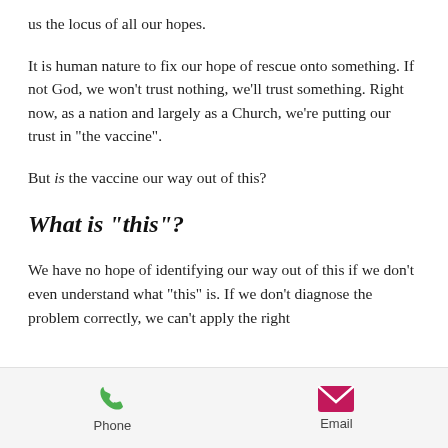us the locus of all our hopes.
It is human nature to fix our hope of rescue onto something. If not God, we won't trust nothing, we'll trust something. Right now, as a nation and largely as a Church, we're putting our trust in “the vaccine”.
But is the vaccine our way out of this?
What is “this”?
We have no hope of identifying our way out of this if we don’t even understand what “this” is. If we don’t diagnose the problem correctly, we can’t apply the right
Phone   Email